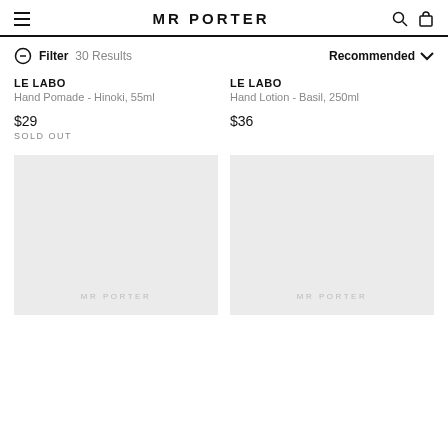MR PORTER
Filter  30 Results   Recommended
LE LABO
Hand Pomade - Hinoki, 55ml

$29
SOLD OUT
LE LABO
Hand Lotion - Basil, 250ml

$36
[Figure (photo): Product placeholder image with MR PORTER watermark]
[Figure (photo): Product placeholder image with MR PORTER watermark]